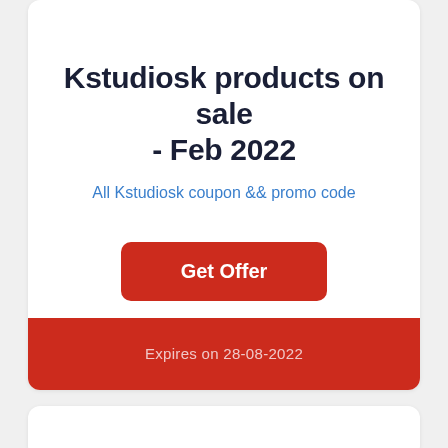Kstudiosk products on sale - Feb 2022
All Kstudiosk coupon && promo code
Get Offer
Expires on 28-08-2022